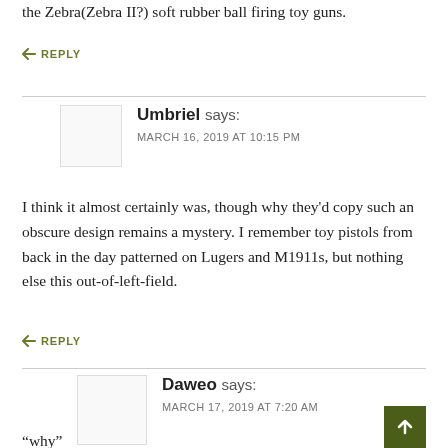the Zebra(Zebra II?) soft rubber ball firing toy guns.
↩ REPLY
Umbriel says: MARCH 16, 2019 AT 10:15 PM
I think it almost certainly was, though why they'd copy such an obscure design remains a mystery. I remember toy pistols from back in the day patterned on Lugers and M1911s, but nothing else this out-of-left-field.
↩ REPLY
Daweo says: MARCH 17, 2019 AT 7:20 AM
“why”